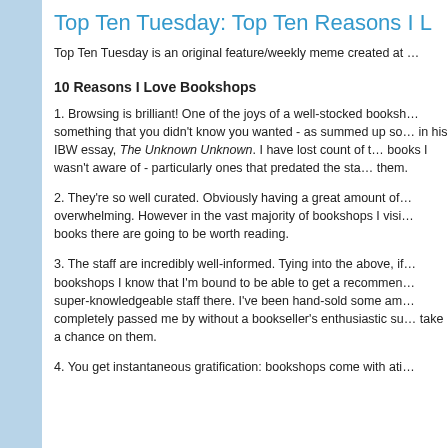Top Ten Tuesday: Top Ten Reasons I L…
Top Ten Tuesday is an original feature/weekly meme created at …
10 Reasons I Love Bookshops
1. Browsing is brilliant! One of the joys of a well-stocked booksh… something that you didn't know you wanted - as summed up so… in his IBW essay, The Unknown Unknown. I have lost count of t… books I wasn't aware of - particularly ones that predated the sta… them.
2. They're so well curated. Obviously having a great amount of… overwhelming. However in the vast majority of bookshops I visi… books there are going to be worth reading.
3. The staff are incredibly well-informed. Tying into the above, if… bookshops I know that I'm bound to be able to get a recommen… super-knowledgeable staff there. I've been hand-sold some am… completely passed me by without a bookseller's enthusiastic su… take a chance on them.
4. …